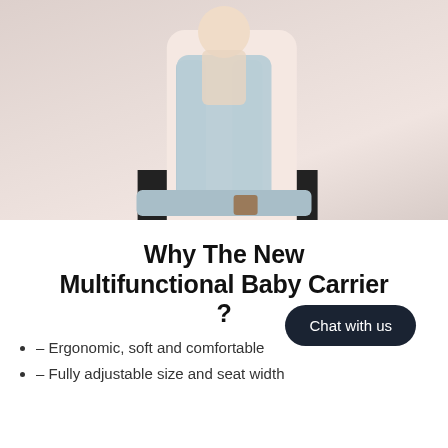[Figure (photo): A person wearing a multifunctional baby carrier on their back, with a baby visible over their shoulder. The carrier is light blue/gray with straps. The background is a light pinkish-beige.]
Why The New Multifunctional Baby Carrier ?
– Ergonomic, soft and comfortable
– Fully adjustable size and seat width